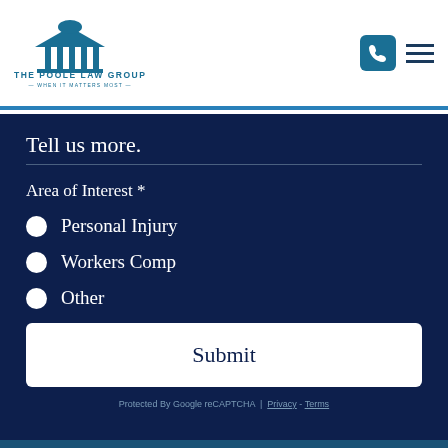[Figure (logo): The Poole Law Group logo with courthouse/pillars icon and tagline 'When it matters most']
Tell us more.
Area of Interest *
Personal Injury
Workers Comp
Other
Submit
Protected By Google reCAPTCHA | Privacy - Terms